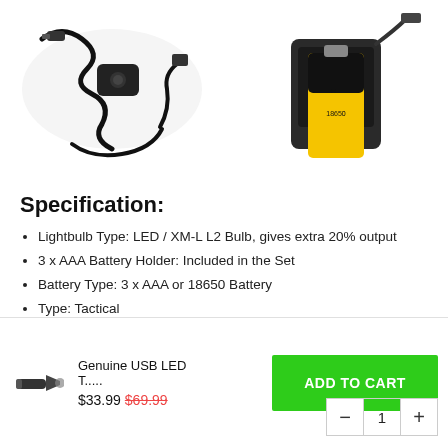[Figure (photo): Two product photos side by side: left shows a car charger/cable for a flashlight; right shows a battery charger with yellow 18650 battery and USB cable.]
Specification:
Lightbulb Type: LED / XM-L L2 Bulb, gives extra 20% output
3 x AAA Battery Holder: Included in the Set
Battery Type: 3 x AAA or 18650 Battery
Type: Tactical
Brightness: 6000 Lumens and above
[Figure (photo): Small product thumbnail of a flashlight (Genuine USB LED Tactical flashlight)]
Genuine USB LED T.....
$33.99 $69.99